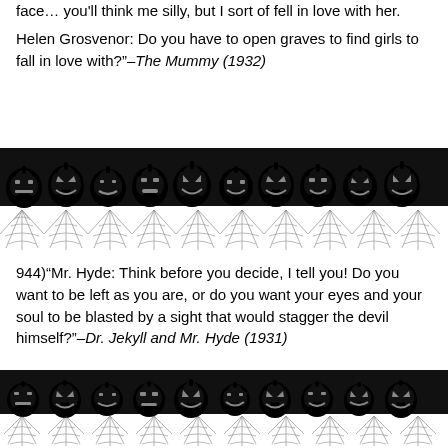face… you'll think me silly, but I sort of fell in love with her.
Helen Grosvenor: Do you have to open graves to find girls to fall in love with?"–The Mummy (1932)
[Figure (illustration): A decorative Halloween border featuring a row of black jack-o'-lanterns with various carved faces sitting on top of spider webs on a black band.]
944)"Mr. Hyde: Think before you decide, I tell you! Do you want to be left as you are, or do you want your eyes and your soul to be blasted by a sight that would stagger the devil himself?"–Dr. Jekyll and Mr. Hyde (1931)
[Figure (illustration): A second identical decorative Halloween border featuring a row of black jack-o'-lanterns with various carved faces sitting on top of spider webs on a black band.]